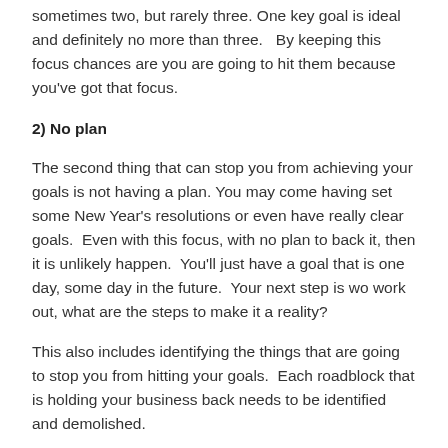sometimes two, but rarely three. One key goal is ideal and definitely no more than three.  By keeping this focus chances are you are going to hit them because you've got that focus.
2) No plan
The second thing that can stop you from achieving your goals is not having a plan. You may come having set some New Year's resolutions or even have really clear goals.  Even with this focus, with no plan to back it, then it is unlikely happen.  You'll just have a goal that is one day, some day in the future.  Your next step is wo work out, what are the steps to make it a reality?
This also includes identifying the things that are going to stop you from hitting your goals.  Each roadblock that is holding your business back needs to be identified and demolished.
A real clear plan will help give you the momentum you